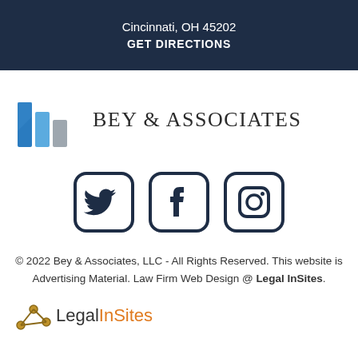Cincinnati, OH 45202
GET DIRECTIONS
[Figure (logo): Bey & Associates law firm logo with vertical bar icon and firm name text]
[Figure (infographic): Social media icons: Twitter, Facebook, Instagram in rounded square borders]
© 2022 Bey & Associates, LLC - All Rights Reserved. This website is Advertising Material. Law Firm Web Design @ Legal InSites.
[Figure (logo): Legal InSites logo with network graph icon and text]